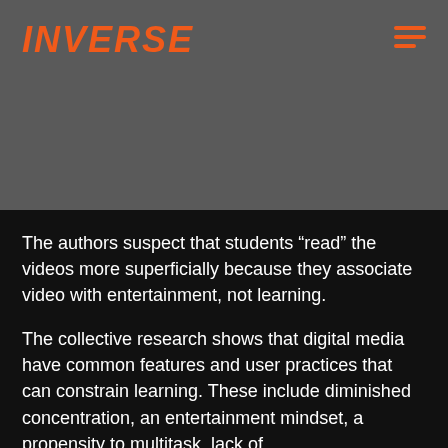[Figure (logo): Inverse logo in orange italic bold text on dark gray background with hamburger menu icon]
The authors suspect that students “read” the videos more superficially because they associate video with entertainment, not learning.
The collective research shows that digital media have common features and user practices that can constrain learning. These include diminished concentration, an entertainment mindset, a propensity to multitask, lack of